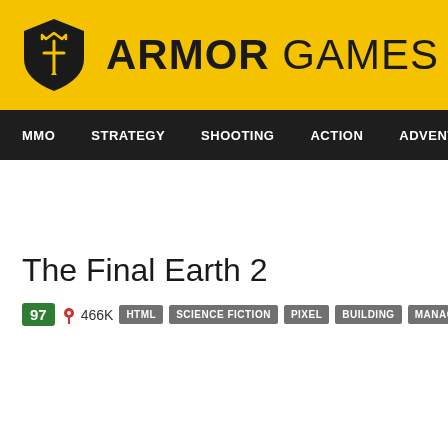ARMOR GAMES
MMO | STRATEGY | SHOOTING | ACTION | ADVENTURE
The Final Earth 2
97  466K  HTML  SCIENCE FICTION  PIXEL  BUILDING  MANAGEMENT